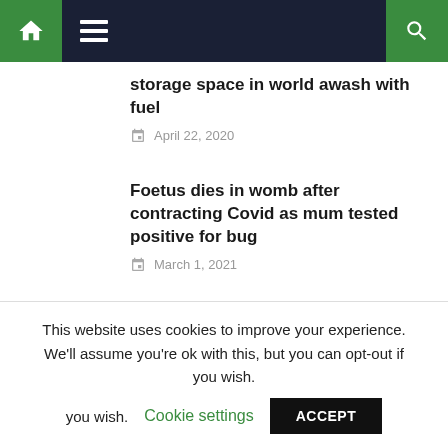Navigation bar with home, menu, and search icons
storage space in world awash with fuel
April 22, 2020
Foetus dies in womb after contracting Covid as mum tested positive for bug
March 1, 2021
This website uses cookies to improve your experience. We'll assume you're ok with this, but you can opt-out if you wish. Cookie settings ACCEPT